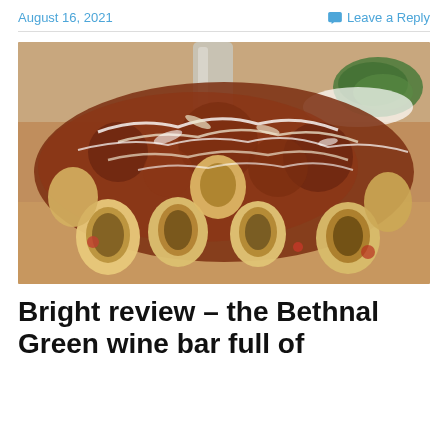August 16, 2021
Leave a Reply
[Figure (photo): Close-up photo of rigatoni pasta with bolognese meat sauce and grated parmesan cheese on top, in a restaurant setting with a bowl of greens visible in the background]
Bright review – the Bethnal Green wine bar full of